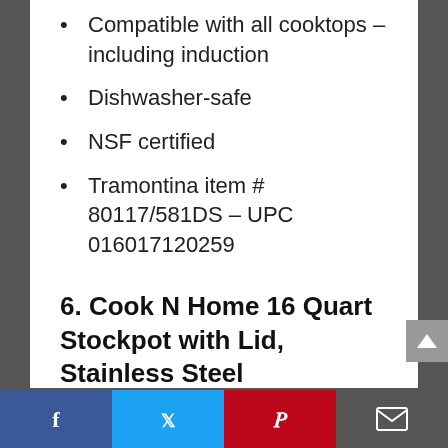Compatible with all cooktops – including induction
Dishwasher-safe
NSF certified
Tramontina item # 80117/581DS – UPC 016017120259
6. Cook N Home 16 Quart Stockpot with Lid, Stainless Steel